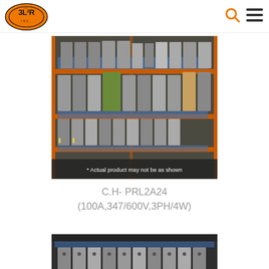3L2R Inc. — navigation header with logo, search icon, and menu icon
[Figure (photo): Shelving unit with industrial electronic modules/PLC components stacked on orange metal racking with blue trays. Overlay text: * Actual product may not be as shown]
C.H- PRL2A24
(100A,347/600V,3PH/4W)
[Figure (photo): Partial view of another row of industrial electronic modules on dark shelving — bottom of page, cropped]